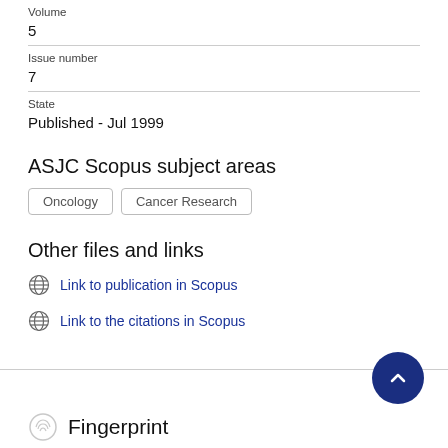Volume
5
Issue number
7
State
Published - Jul 1999
ASJC Scopus subject areas
Oncology
Cancer Research
Other files and links
Link to publication in Scopus
Link to the citations in Scopus
Fingerprint